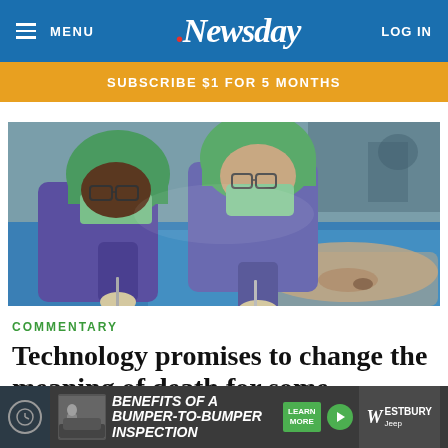MENU | Newsday | LOG IN
SUBSCRIBE $1 FOR 5 MONTHS
[Figure (photo): Two surgeons in blue scrubs and green surgical caps and masks performing surgery, leaning over a patient on the operating table.]
COMMENTARY
Technology promises to change the meaning of death for some
[Figure (photo): Advertisement banner: Benefits of a Bumper-to-Bumper Inspection — Westbury Jeep]